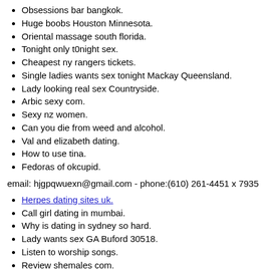Obsessions bar bangkok.
Huge boobs Houston Minnesota.
Oriental massage south florida.
Tonight only t0night sex.
Cheapest ny rangers tickets.
Single ladies wants sex tonight Mackay Queensland.
Lady looking real sex Countryside.
Arbic sexy com.
Sexy nz women.
Can you die from weed and alcohol.
Val and elizabeth dating.
How to use tina.
Fedoras of okcupid.
email: hjgpqwuexn@gmail.com - phone:(610) 261-4451 x 7935
Herpes dating sites uk.
Call girl dating in mumbai.
Why is dating in sydney so hard.
Lady wants sex GA Buford 30518.
Listen to worship songs.
Review shemales com.
Dating sites for alpha males.
What is alcohol classified as a drug.
South riding inn va.
Naughty lady wants nsa Vienna.